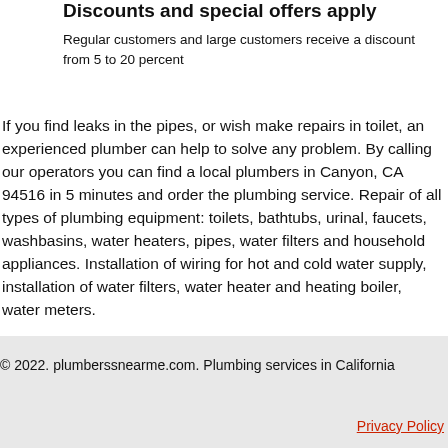Discounts and special offers apply
Regular customers and large customers receive a discount from 5 to 20 percent
If you find leaks in the pipes, or wish make repairs in toilet, an experienced plumber can help to solve any problem. By calling our operators you can find a local plumbers in Canyon, CA 94516 in 5 minutes and order the plumbing service. Repair of all types of plumbing equipment: toilets, bathtubs, urinal, faucets, washbasins, water heaters, pipes, water filters and household appliances. Installation of wiring for hot and cold water supply, installation of water filters, water heater and heating boiler, water meters.
© 2022. plumberssnearme.com. Plumbing services in California
Privacy Policy